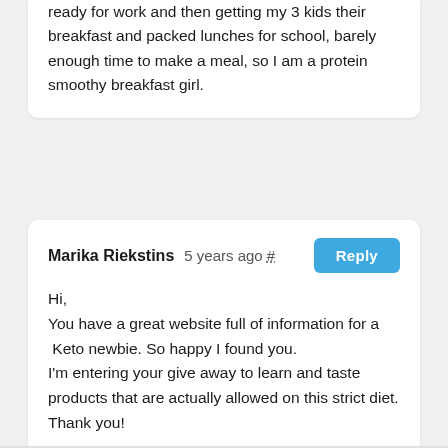ready for work and then getting my 3 kids their breakfast and packed lunches for school, barely enough time to make a meal, so I am a protein smoothy breakfast girl.
Marika Riekstins  5 years ago #  Reply
Hi,
You have a great website full of information for a  Keto newbie. So happy I found you.
I'm entering your give away to learn and taste products that are actually allowed on this strict diet.
Thank you!